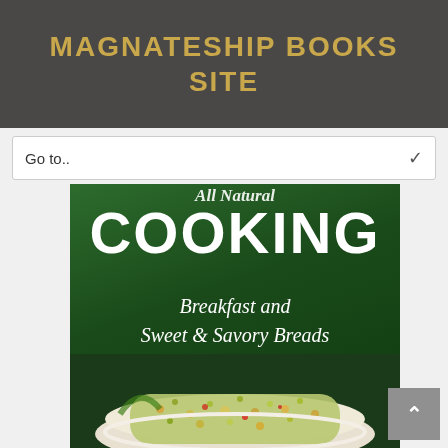MAGNATESHIP BOOKS SITE
Go to..
[Figure (illustration): Book cover for 'All Natural Cooking: Breakfast and Sweet & Savory Breads Cookbook' — dark green background with large white COOKING text and italic subtitle, bottom portion shows a photo of grain/seed food dish in a white bowl]